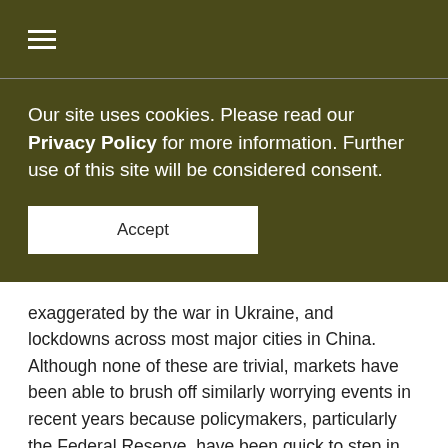≡
Our site uses cookies. Please read our Privacy Policy for more information. Further use of this site will be considered consent.
Accept
exaggerated by the war in Ukraine, and lockdowns across most major cities in China. Although none of these are trivial, markets have been able to brush off similarly worrying events in recent years because policymakers, particularly the Federal Reserve, have been quick to step in with support, typically in the form of lower interest rates, quantitative